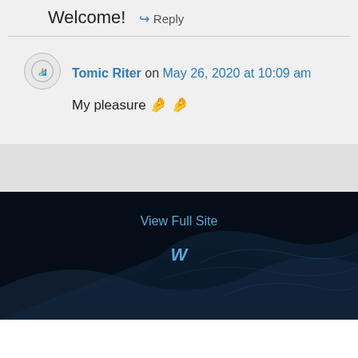Welcome!
↪ Reply
Tomic Riter on May 26, 2020 at 10:09 am
My pleasure 🤌🤌
View Full Site
W